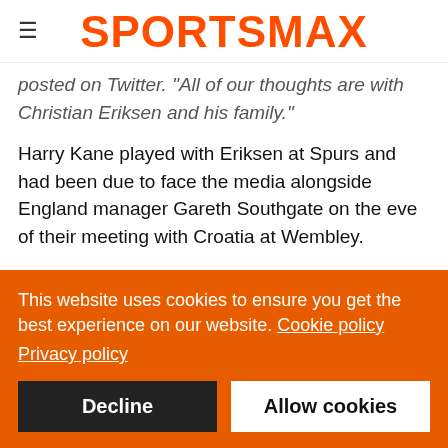SPORTSMAX
posted on Twitter. "All of our thoughts are with Christian Eriksen and his family."
Harry Kane played with Eriksen at Spurs and had been due to face the media alongside England manager Gareth Southgate on the eve of their meeting with Croatia at Wembley.
The news conference was cancelled and the Football Association said: "Our thoughts this evening are with Christian Eriksen and his family, and also with the Danish...
This website uses cookies to ensure you get the best experience on our website. Cookie policy
Privacy policy
Decline | Allow cookies